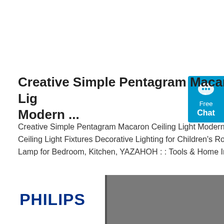Creative Simple Pentagram Macaron Ceiling Lig Modern ...
Creative Simple Pentagram Macaron Ceiling Light Modern Minimalist Close to Ceiling Light Fixtures Decorative Lighting for Children's Room, LED Ceiling Lamp for Bedroom, Kitchen, YAZAHOH : : Tools & Home Improvement
[Figure (other): Get Price orange button]
[Figure (logo): Philips logo on grey background at bottom of page]
[Figure (other): Free Chat widget in blue on right side]